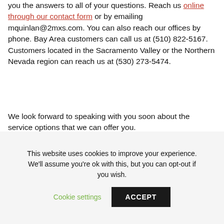you the answers to all of your questions. Reach us online through our contact form or by emailing mquinlan@2mxs.com. You can also reach our offices by phone. Bay Area customers can call us at (510) 822-5167. Customers located in the Sacramento Valley or the Northern Nevada region can reach us at (530) 273-5474.
We look forward to speaking with you soon about the service options that we can offer you.
This website uses cookies to improve your experience. We'll assume you're ok with this, but you can opt-out if you wish. Cookie settings ACCEPT